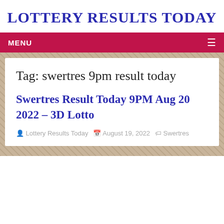LOTTERY RESULTS TODAY
MENU
Tag: swertres 9pm result today
Swertres Result Today 9PM Aug 20 2022 – 3D Lotto
Lottery Results Today   August 19, 2022   Swertres